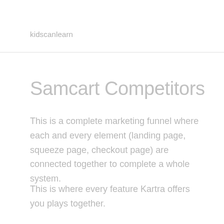kidscanlearn
Samcart Competitors
This is a complete marketing funnel where each and every element (landing page, squeeze page, checkout page) are connected together to complete a whole system.
This is where every feature Kartra offers you plays together.